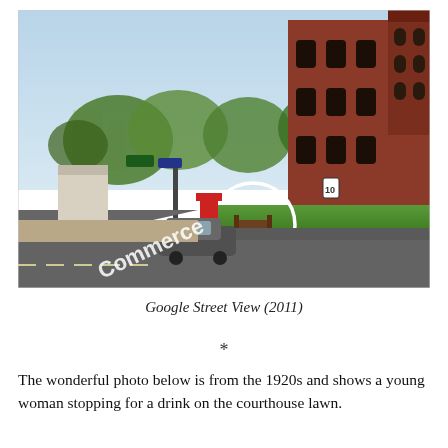[Figure (photo): Google Street View photo from 2011 showing a street corner with a large red brick courthouse building on the right, green trees, a car on the road, street signs, and a white circle drawn on the image highlighting something on the courthouse lawn. The text 'Commerce' is overlaid on the street in the foreground.]
Google Street View (2011)
*
The wonderful photo below is from the 1920s and shows a young woman stopping for a drink on the courthouse lawn.